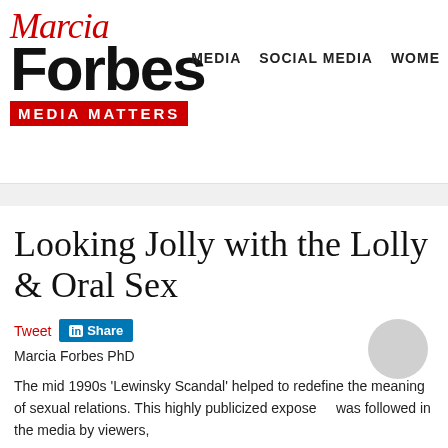[Figure (logo): Marcia Forbes Media Matters logo with red script 'Marcia' above bold black 'Forbes' and red banner 'MEDIA MATTERS']
MEDIA   SOCIAL MEDIA   WOME
Looking Jolly with the Lolly & Oral Sex
Tweet  Share
Marcia Forbes PhD
The mid 1990s 'Lewinsky Scandal' helped to redefine the meaning of sexual relations. This highly publicized expose    was followed in the media by viewers,